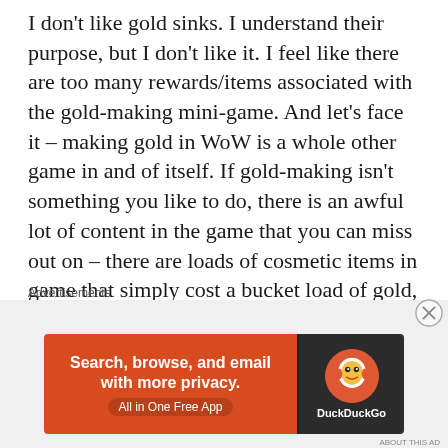I don't like gold sinks. I understand their purpose, but I don't like it. I feel like there are too many rewards/items associated with the gold-making mini-game. And let's face it – making gold in WoW is a whole other game in and of itself. If gold-making isn't something you like to do, there is an awful lot of content in the game that you can miss out on – there are loads of cosmetic items in game that simply cost a bucket load of gold, and if you don't have that gold, you're going to have a hard time getting them.

The point is that Blizzard needs to find ways to get players to let go of some of their gold, and
Advertisements
[Figure (other): DuckDuckGo advertisement banner. Orange left section with text 'Search, browse, and email with more privacy. All in One Free App'. Dark right section with DuckDuckGo logo and name.]